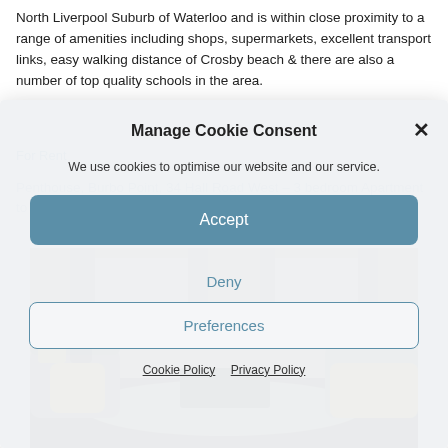North Liverpool Suburb of Waterloo and is within close proximity to a range of amenities including shops, supermarkets, excellent transport links, easy walking distance of Crosby beach & there are also a number of top quality schools in the area.
For Rent
Penthouse, Burbo Point, 34 Hall Road West – 3 bedroom Apartment to let
Manage Cookie Consent
We use cookies to optimise our website and our service.
Accept
Deny
Preferences
Cookie Policy   Privacy Policy
[Figure (photo): Interior photo of a luxury apartment living room with grey and golden/yellow armchairs and sofas, dark wooden flooring, and large windows with curtains.]